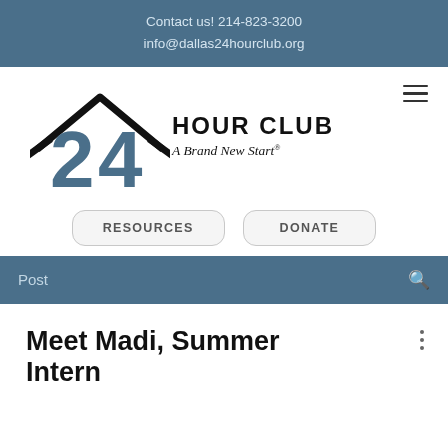Contact us! 214-823-3200
info@dallas24hourclub.org
[Figure (logo): 24 Hour Club logo: house outline with large '24' in steel blue, text 'HOUR CLUB' and italic tagline 'A Brand New Start®']
RESOURCES
DONATE
Post
Meet Madi, Summer Intern